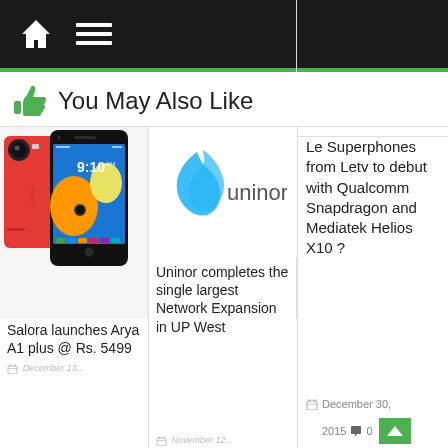Navigation bar with home and menu icons
👍 You May Also Like
[Figure (photo): Salora Arya A1 Plus smartphone in red color]
Salora launches Arya A1 plus @ Rs. 5499
[Figure (logo): Uninor telecom company logo]
Uninor completes the single largest Network Expansion in UP West
Le Superphones from Letv to debut with Qualcomm Snapdragon and Mediatek Helios X10 ?
December 30, 2015  0